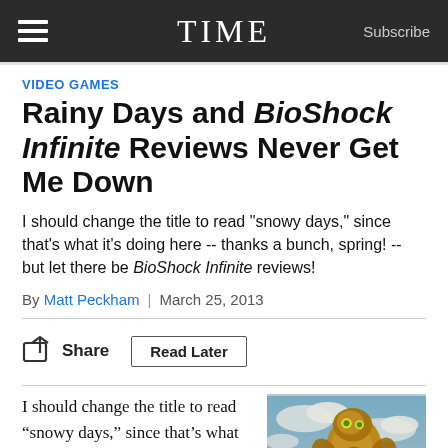TIME
VIDEO GAMES
Rainy Days and BioShock Infinite Reviews Never Get Me Down
I should change the title to read "snowy days," since that's what it's doing here -- thanks a bunch, spring! -- but let there be BioShock Infinite reviews!
By Matt Peckham | March 25, 2013
Share  Read Later
I should change the title to read “snowy days,” since that’s what it’s doing here — thanks a bunch, spring! — but let there be BioShock Infinite
[Figure (illustration): BioShock Infinite game artwork showing a large armored mechanical figure (Songbird) against a blue sky with clouds]